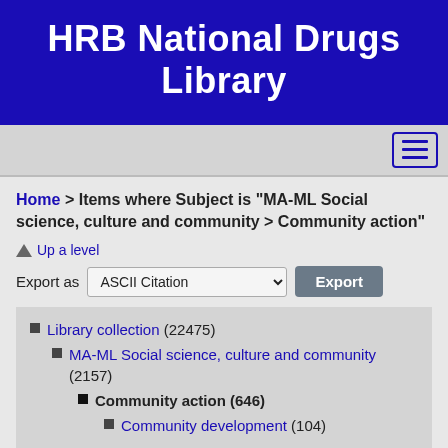HRB National Drugs Library
Home > Items where Subject is "MA-ML Social science, culture and community > Community action"
Up a level
Export as  ASCII Citation   Export
Library collection (22475)
MA-ML Social science, culture and community (2157)
Community action (646)
Community development (104)